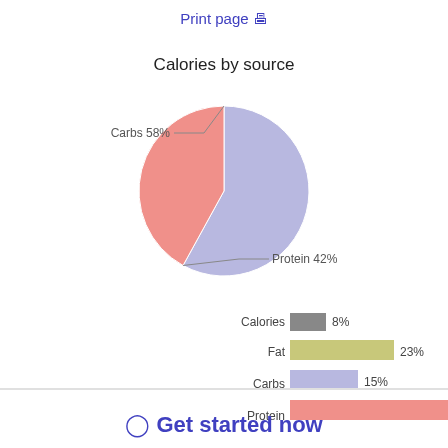Print page 🖨
[Figure (pie-chart): Calories by source]
[Figure (bar-chart): ]
⬤ Get started now